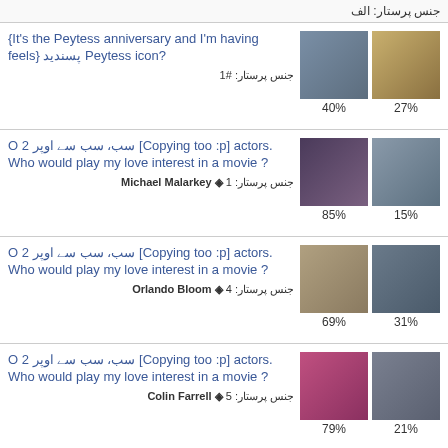جنس پرستار: الف
{It's the Peytess anniversary and I'm having feels} پسندید Peytess icon? جنس پرستار: #1
40% | 27%
O سب، سب سے اوپر 2 [Copying too :p] actors. Who would play my love interest in a movie ? جنس پرستار: 1 ◈ Michael Malarkey
85% | 15%
O سب، سب سے اوپر 2 [Copying too :p] actors. Who would play my love interest in a movie ? جنس پرستار: 4 ◈ Orlando Bloom
69% | 31%
O سب، سب سے اوپر 2 [Copying too :p] actors. Who would play my love interest in a movie ? جنس پرستار: 5 ◈ Colin Farrell
79% | 21%
O سب، سب سے اوپر 2 [Copying too :p] actors. Who would play my love interest in a movie